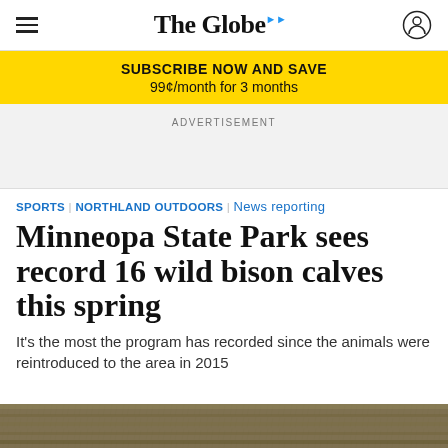The Globe
SUBSCRIBE NOW AND SAVE
99¢/month for 3 months
ADVERTISEMENT
SPORTS | NORTHLAND OUTDOORS | News reporting
Minneopa State Park sees record 16 wild bison calves this spring
It's the most the program has recorded since the animals were reintroduced to the area in 2015
[Figure (photo): Bottom strip of a nature/wildlife photograph showing grass and bison, partially visible at bottom of page]